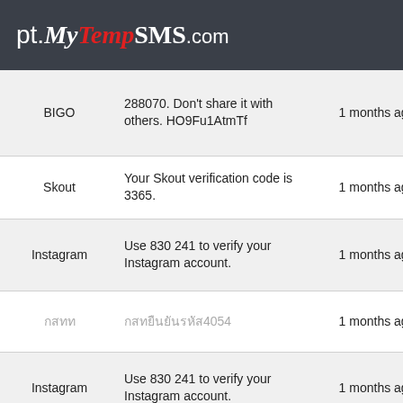pt.MyTempSMS.com
| Sender | Message | Time |
| --- | --- | --- |
| BIGO | 288070. Don't share it with others. HO9Fu1AtmTf | 1 months ago |
| Skout | Your Skout verification code is 3365. | 1 months ago |
| Instagram | Use 830 241 to verify your Instagram account. | 1 months ago |
| กสทท | กสท​ยืนยันรหัส4054 | 1 months ago |
| Instagram | Use 830 241 to verify your Instagram account. | 1 months ago |
| AliExpress | 【AliExpress】Verification Code: 367527. Valid for 5 | 1 months ago |